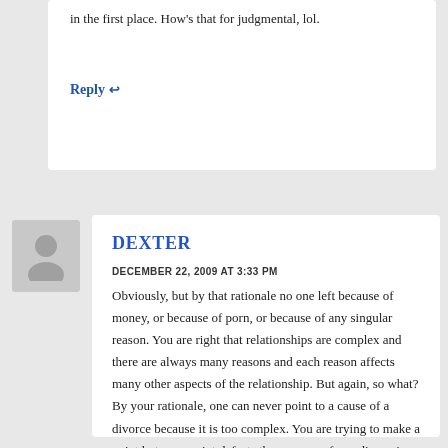in the first place. How’s that for judgmental, lol.
Reply
DEXTER
DECEMBER 22, 2009 AT 3:33 PM
Obviously, but by that rationale no one left because of money, or because of porn, or because of any singular reason. You are right that relationships are complex and there are always many reasons and each reason affects many other aspects of the relationship. But again, so what? By your rationale, one can never point to a cause of a divorce because it is too complex. You are trying to make a point but your point defeats the purpose of any discussion.
Reply